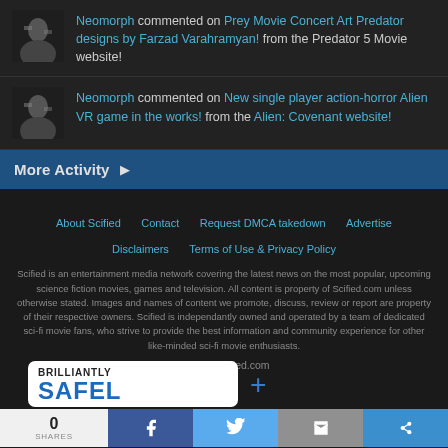Neomorph commented on Prey Movie Concert Art Predator designs by Farzad Varahramyan! from the Predator 5 Movie website!
Neomorph commented on New single player action-horror Alien VR game in the works! from the Alien: Covenant website!
More Activity ▶
About Scified | Contact | Request DMCA takedown | Advertise | Disclaimers | Terms of Use & Privacy Policy
Scified is an entertainment media network covering the latest news on the most popular, upcoming science fiction movies, games and television. All content is property of Scified.com unless otherwise stated. Images and names of content we promote, discuss, review or report are property of their respective owners. Scified is independantly owned and operated by a team of dedicated sci-fi movie fans, who strive to provide the best information and community experience for other like-minded sci-fi movie enthusiasts.
© 2022 Scified.com
[Figure (logo): Brilliantly Safe logo/badge partially visible at bottom left]
0 SHARES | Facebook share | Twitter share | Email share | More share options